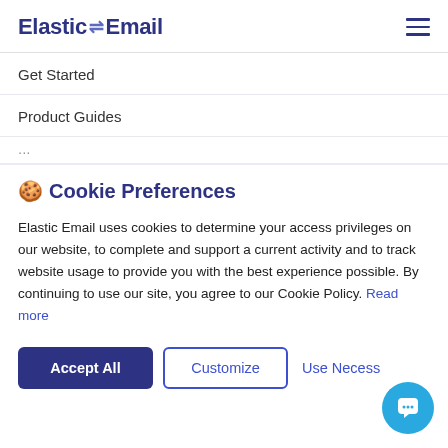Elastic Email
Get Started
Product Guides
🍪 Cookie Preferences
Elastic Email uses cookies to determine your access privileges on our website, to complete and support a current activity and to track website usage to provide you with the best experience possible. By continuing to use our site, you agree to our Cookie Policy. Read more
Accept All | Customize | Use Necessary